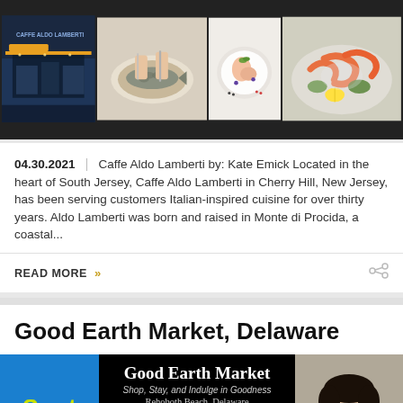[Figure (photo): Strip of four food/restaurant photos: Caffe Aldo Lamberti exterior, chef filleting fish, plated dish, seafood plate]
04.30.2021 | Caffe Aldo Lamberti by: Kate Emick Located in the heart of South Jersey, Caffe Aldo Lamberti in Cherry Hill, New Jersey, has been serving customers Italian-inspired cuisine for over thirty years. Aldo Lamberti was born and raised in Monte di Procida, a coastal...
READ MORE »
Good Earth Market, Delaware
[Figure (photo): Good Earth Market banner with Spotlight logo in blue/yellow, restaurant name and details, and a headshot photo of a man]